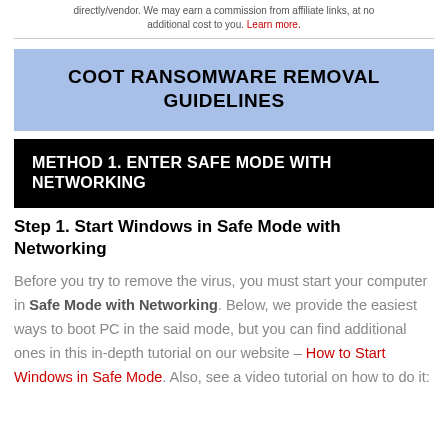directly/vendor. We may earn a commission from affiliate links, at no additional cost to you. Learn more.
COOT RANSOMWARE REMOVAL GUIDELINES
METHOD 1. ENTER SAFE MODE WITH NETWORKING
Step 1. Start Windows in Safe Mode with Networking
Before you try to remove the virus, you must start your computer in Safe Mode with Networking. Below, we provide the easiest ways to boot PC in the said mode, but you can find additional ones in this in-depth tutorial on our website – How to Start Windows in Safe Mode. Also, see a video tutorial on how to do it: